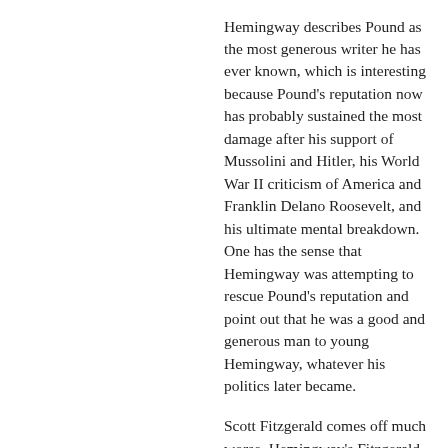Hemingway describes Pound as the most generous writer he has ever known, which is interesting because Pound's reputation now has probably sustained the most damage after his support of Mussolini and Hitler, his World War II criticism of America and Franklin Delano Roosevelt, and his ultimate mental breakdown. One has the sense that Hemingway was attempting to rescue Pound's reputation and point out that he was a good and generous man to young Hemingway, whatever his politics later became.
Scott Fitzgerald comes off much worse. Hemingway's Fitzgerald is drunk, tedious, insecure, and silly. Hemingway doesn't share much about Fitzgerald that casts him in a